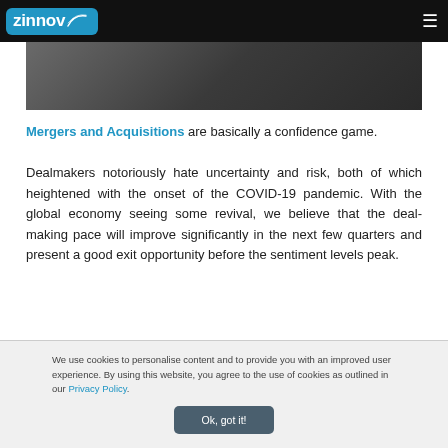zinnov
[Figure (photo): Partial view of a person in a dark setting, photo strip at top of article]
Mergers and Acquisitions are basically a confidence game.
Dealmakers notoriously hate uncertainty and risk, both of which heightened with the onset of the COVID-19 pandemic. With the global economy seeing some revival, we believe that the deal-making pace will improve significantly in the next few quarters and present a good exit opportunity before the sentiment levels peak.
We use cookies to personalise content and to provide you with an improved user experience. By using this website, you agree to the use of cookies as outlined in our Privacy Policy.